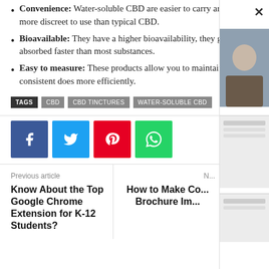Convenience: Water-soluble CBD are easier to carry around and more discreet to use than typical CBD.
Bioavailable: They have a higher bioavailability, they get absorbed faster than most substances.
Easy to measure: These products allow you to maintain a consistent does more efficiently.
TAGS  CBD  CBD TINCTURES  WATER-SOLUBLE CBD
[Figure (infographic): Social share buttons: Facebook (blue), Twitter (light blue), Pinterest (red), WhatsApp (green)]
Previous article
Know About the Top Google Chrome Extension for K-12 Students?
Next article
How to Make Co... Brochure Im...
[Figure (photo): Partially visible photo of a person on right overlay panel]